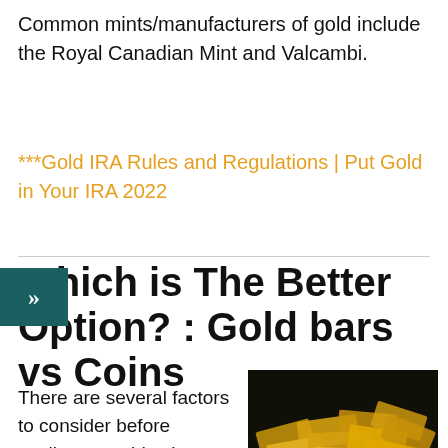Common mints/manufacturers of gold include the Royal Canadian Mint and Valcambi.
***Gold IRA Rules and Regulations | Put Gold in Your IRA 2022
Which is The Better Option? : Gold bars vs Coins
[Figure (photo): A pile of gold bars and coins stacked together on a dark background]
There are several factors to consider before settling on gold coins or gold bars. Each of these forms of